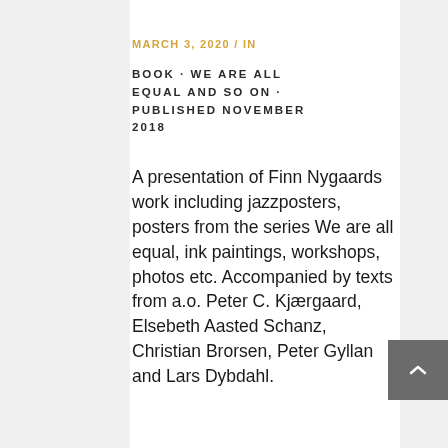MARCH 3, 2020 / IN
BOOK · WE ARE ALL EQUAL AND SO ON · PUBLISHED NOVEMBER 2018
A presentation of Finn Nygaards work including jazzposters, posters from the series We are all equal, ink paintings, workshops, photos etc. Accompanied by texts from a.o. Peter C. Kjærgaard, Elsebeth Aasted Schanz, Christian Brorsen, Peter Gyllan and Lars Dybdahl.